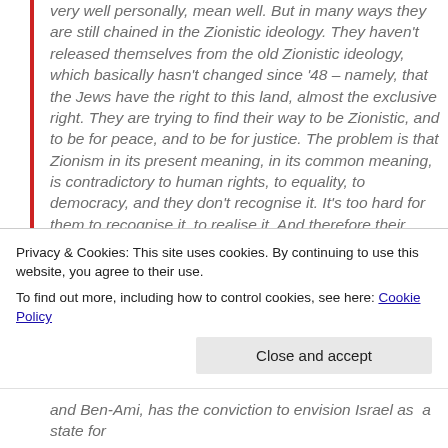very well personally, mean well. But in many ways they are still chained in the Zionistic ideology. They haven't released themselves from the old Zionistic ideology, which basically hasn't changed since '48 – namely, that the Jews have the right to this land, almost the exclusive right. They are trying to find their way to be Zionistic, and to be for peace, and to be for justice. The problem is that Zionism in its present meaning, in its common meaning, is contradictory to human rights, to equality, to democracy, and they don't recognise it. It's too hard for them to recognise it, to realise it. And therefore their position is an impossible position, because they want everything: they want Zionism, they want democracy, they want a Jewish state, but they want also rights for the Palestinians… it's very nice to want everything
Privacy & Cookies: This site uses cookies. By continuing to use this website, you agree to their use.
To find out more, including how to control cookies, see here: Cookie Policy
Close and accept
and Ben-Ami, has the conviction to envision Israel as  a state for